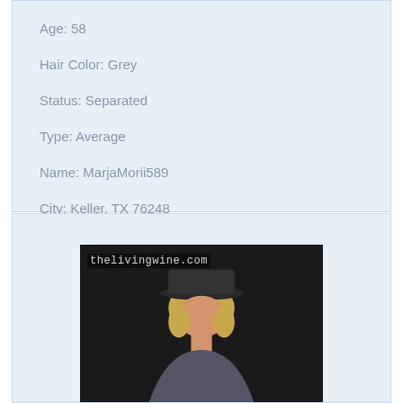Age: 58
Hair Color: Grey
Status: Separated
Type: Average
Name: MarjaMorii589
City: Keller, TX 76248
[Figure (photo): Photo of a person with a hat, with watermark 'thelivingwine.com' overlaid on a dark background]